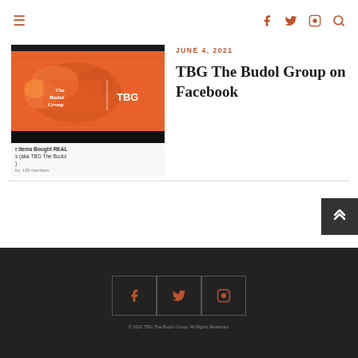≡  f  🐦  📷  🔍
[Figure (screenshot): Thumbnail screenshot of TBG The Budol Group Facebook page with orange banner logo and partial article text below]
JUNE 4, 2021
TBG The Budol Group on Facebook
[Figure (infographic): Back-to-top chevron button in dark gray]
Social media icon links (Facebook, Twitter, Instagram) and footer copyright text